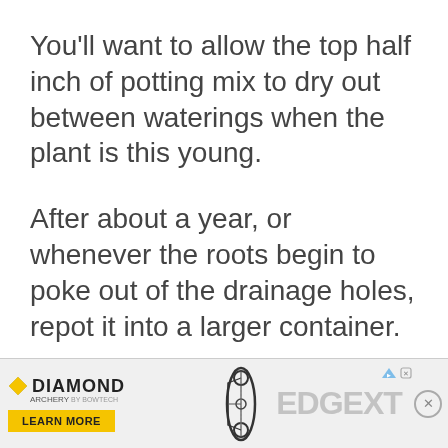You'll want to allow the top half inch of potting mix to dry out between waterings when the plant is this young.
After about a year, or whenever the roots begin to poke out of the drainage holes, repot it into a larger container.
[Figure (other): Diamond Archery advertisement banner featuring the Diamond Archery logo, a 'Learn More' yellow button, an image of a compound bow, and 'EDGE XT' text in grey. Includes AdChoices icon and close button.]